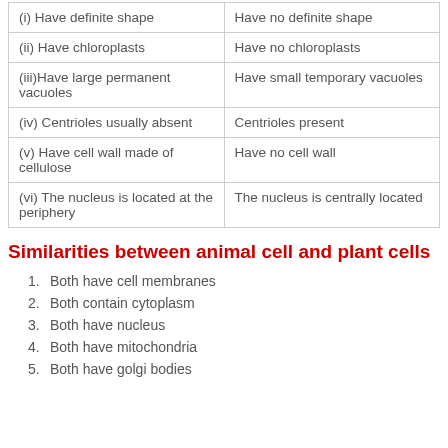| (i) Have definite shape | Have no definite shape |
| (ii) Have chloroplasts | Have no chloroplasts |
| (iii)Have large permanent vacuoles | Have small temporary vacuoles |
| (iv) Centrioles usually absent | Centrioles present |
| (v) Have cell wall made of cellulose | Have no cell wall |
| (vi) The nucleus is located at the periphery | The nucleus is centrally located |
Similarities between animal cell and plant cells
Both have cell membranes
Both contain cytoplasm
Both have nucleus
Both have mitochondria
Both have golgi bodies